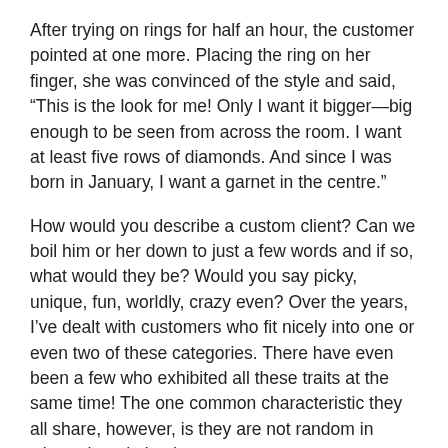After trying on rings for half an hour, the customer pointed at one more. Placing the ring on her finger, she was convinced of the style and said, “This is the look for me! Only I want it bigger—big enough to be seen from across the room. I want at least five rows of diamonds. And since I was born in January, I want a garnet in the centre.”
How would you describe a custom client? Can we boil him or her down to just a few words and if so, what would they be? Would you say picky, unique, fun, worldly, crazy even? Over the years, I’ve dealt with customers who fit nicely into one or even two of these categories. There have even been a few who exhibited all these traits at the same time! The one common characteristic they all share, however, is they are not random in where they do business.
Custom clients are methodical about choosing the stores they shop at; likewise in picking the bench jewellers who create their jewellery. And most of their research is done through word of mouth. It can take years of hard work to develop a custom jewellery shop and a following of loyal